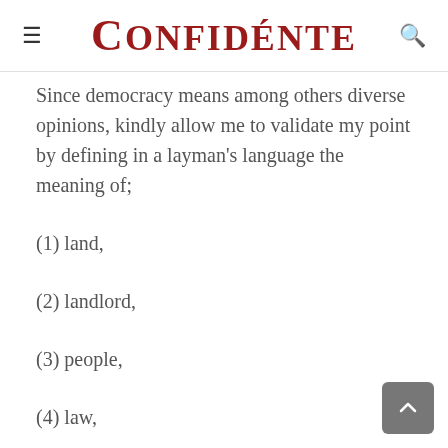Confidénte
Since democracy means among others diverse opinions, kindly allow me to validate my point by defining in a layman's language the meaning of;
(1) land,
(2) landlord,
(3) people,
(4) law,